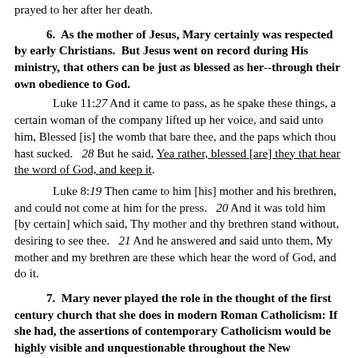prayed to her after her death.
6.  As the mother of Jesus, Mary certainly was respected by early Christians.  But Jesus went on record during His ministry, that others can be just as blessed as her--through their own obedience to God.
Luke 11:27 And it came to pass, as he spake these things, a certain woman of the company lifted up her voice, and said unto him, Blessed [is] the womb that bare thee, and the paps which thou hast sucked.   28 But he said, Yea rather, blessed [are] they that hear the word of God, and keep it.
Luke 8:19 Then came to him [his] mother and his brethren, and could not come at him for the press.   20 And it was told him [by certain] which said, Thy mother and thy brethren stand without, desiring to see thee.   21 And he answered and said unto them, My mother and my brethren are these which hear the word of God, and do it.
7.  Mary never played the role in the thought of the first century church that she does in modern Roman Catholicism: If she had, the assertions of contemporary Catholicism would be highly visible and unquestionable throughout the New Testament.
Unless we are to argue that medieval and modern theology